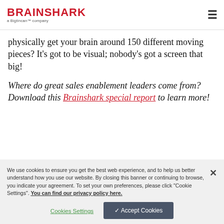BRAINSHARK a Bigtincan™ company
physically get your brain around 150 different moving pieces? It's got to be visual; nobody's got a screen that big!
Where do great sales enablement leaders come from? Download this Brainshark special report to learn more!
We use cookies to ensure you get the best web experience, and to help us better understand how you use our website. By closing this banner or continuing to browse, you indicate your agreement. To set your own preferences, please click "Cookie Settings". You can find our privacy policy here.
Cookies Settings | ✓ Accept Cookies